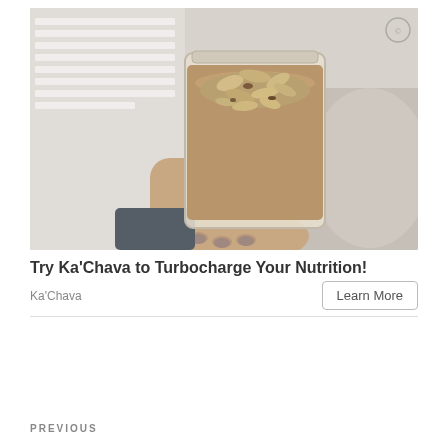[Figure (photo): Hand holding a glass jar filled with a brown smoothie topped with rolled oats and nuts, photographed against a light background with blinds and soft fabric.]
Try Ka'Chava to Turbocharge Your Nutrition!
Ka'Chava
Learn More
PREVIOUS